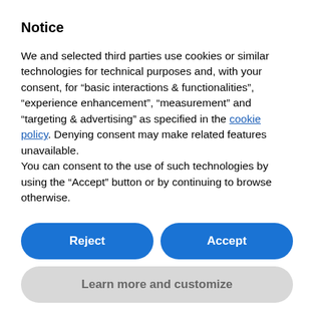Notice
We and selected third parties use cookies or similar technologies for technical purposes and, with your consent, for “basic interactions & functionalities”, “experience enhancement”, “measurement” and “targeting & advertising” as specified in the cookie policy. Denying consent may make related features unavailable.
You can consent to the use of such technologies by using the “Accept” button or by continuing to browse otherwise.
Reject
Accept
Learn more and customize
productivity of business